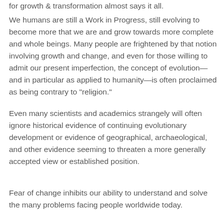for growth & transformation almost says it all.
We humans are still a Work in Progress, still evolving to become more that we are and grow towards more complete and whole beings. Many people are frightened by that notion involving growth and change, and even for those willing to admit our present imperfection, the concept of evolution—and in particular as applied to humanity—is often proclaimed as being contrary to "religion."
Even many scientists and academics strangely will often ignore historical evidence of continuing evolutionary development or evidence of geographical, archaeological, and other evidence seeming to threaten a more generally accepted view or established position.
Fear of change inhibits our ability to understand and solve the many problems facing people worldwide today.